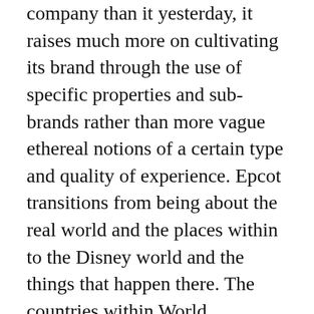company than it yesterday, it raises much more on cultivating its brand through the use of specific properties and sub-brands rather than more vague ethereal notions of a certain type and quality of experience. Epcot transitions from being about the real world and the places within to the Disney world and the things that happen there. The countries within World Showcase are the backdrop for your own adventures with the characters that reside there or near there instead of being about the countries themselves. And futureworld instead of being about humanity's optimism about the future and the faith in our ingenuity to solve the problems of the world, is again turned more into a backdrop of just “the future, technology, and such”. The structure of the